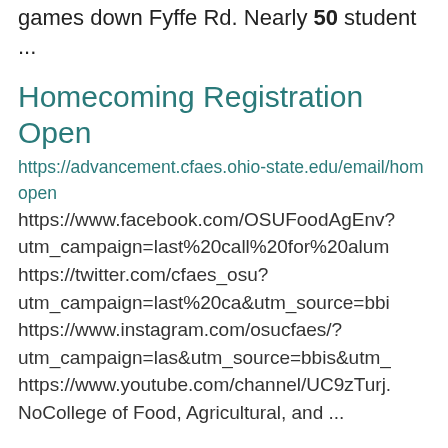games down Fyffe Rd. Nearly 50 student ...
Homecoming Registration Open
https://advancement.cfaes.ohio-state.edu/email/hom open
https://www.facebook.com/OSUFoodAgEnv? utm_campaign=last%20call%20for%20alum https://twitter.com/cfaes_osu? utm_campaign=last%20ca&utm_source=bbi https://www.instagram.com/osucfaes/? utm_campaign=las&utm_source=bbis&utm_ https://www.youtube.com/channel/UC9zTurj. NoCollege of Food, Agricultural, and ...
Test